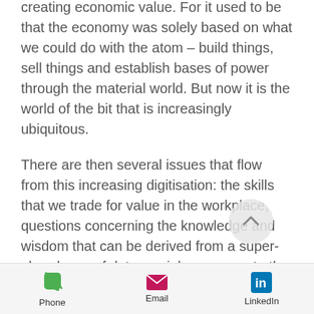creating economic value. For it used to be that the economy was solely based on what we could do with the atom – build things, sell things and establish bases of power through the material world. But now it is the world of the bit that is increasingly ubiquitous.
There are then several issues that flow from this increasing digitisation: the skills that we trade for value in the workplace, questions concerning the knowledge and wisdom that can be derived from a super-abundance of data, social responses to the changing structure of the economy, and the shape of governance structures surrounding
[Figure (other): Scroll-up circular button with chevron/caret icon]
Phone   Email   LinkedIn